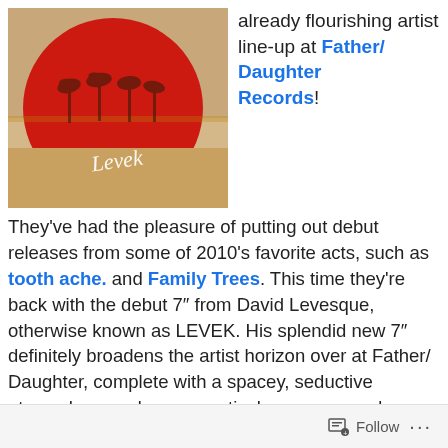[Figure (illustration): Album cover for LEVEK by David Levesque — large red circle on a beige/sandy background with silhouettes of palm trees reflected, and the word 'Levek' in white cursive script]
already flourishing artist line-up at Father/Daughter Records!
They've had the pleasure of putting out debut releases from some of 2010's favorite acts, such as tooth ache. and Family Trees. This time they're back with the debut 7″ from David Levesque, otherwise known as LEVEK. His splendid new 7″ definitely broadens the artist horizon over at Father/ Daughter, complete with a spacey, seductive atmosphere and a provocatively groovy mood – forcing me to say the word 'sexy' could definitely be used to describe this one man band's sounds.
Follow ...